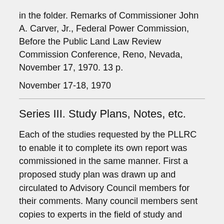in the folder. Remarks of Commissioner John A. Carver, Jr., Federal Power Commission, Before the Public Land Law Review Commission Conference, Reno, Nevada, November 17, 1970. 13 p.
November 17-18, 1970
Series III. Study Plans, Notes, etc.
Each of the studies requested by the PLLRC to enable it to complete its own report was commissioned in the same manner. First a proposed study plan was drawn up and circulated to Advisory Council members for their comments. Many council members sent copies to experts in the field of study and included these comments with their own report to the Commission. A "Request for Proposals" (RFP) was then sent to potential contractors. After a